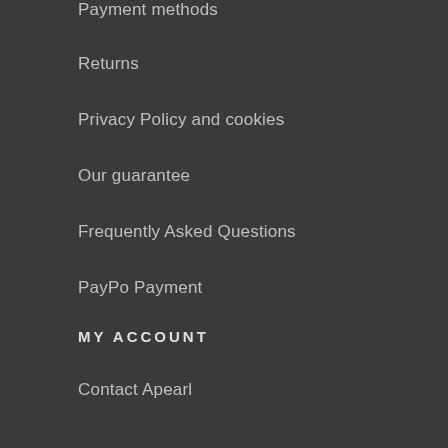Payment methods
Returns
Privacy Policy and cookies
Our guarantee
Frequently Asked Questions
PayPo Payment
MY ACCOUNT
Contact Apearl
Sign in
My account
CUSTOMER SERVICE
508-255-993
s@apearl.eu